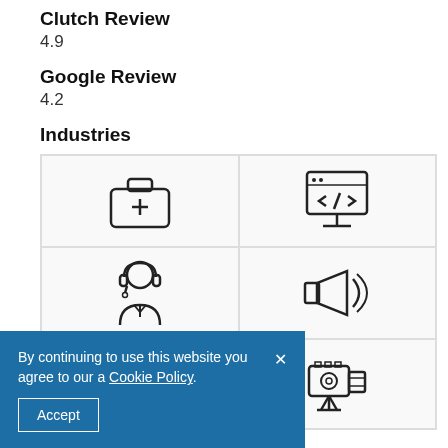Clutch Review
4.9
Google Review
4.2
Industries
[Figure (infographic): Four industry icons in a 2x2 grid: medical briefcase (top-left), desktop computer with code (top-right), customer support agent (bottom-left), megaphone/marketing (bottom-right). A partial third row shows a partially visible blue circle and a movie camera icon.]
By continuing to use this website you agree to our a Cookie Policy. Accept